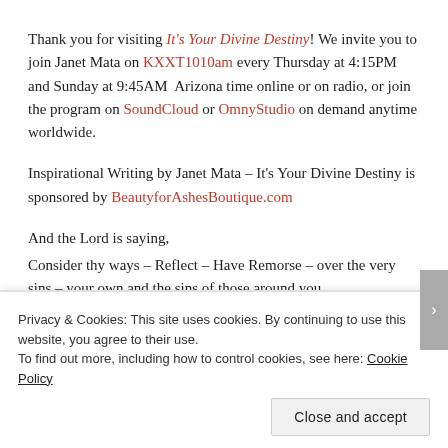Thank you for visiting It's Your Divine Destiny! We invite you to join Janet Mata on KXXT1010am every Thursday at 4:15PM and Sunday at 9:45AM  Arizona time online or on radio, or join the program on SoundCloud or OmnyStudio on demand anytime worldwide.
Inspirational Writing by Janet Mata – It's Your Divine Destiny is sponsored by BeautyforAshesBoutique.com
And the Lord is saying,
Consider thy ways – Reflect – Have Remorse – over the very sins – your own and the sins of those around you.
For I have called you to be a people unto me – Holy and righteous
Privacy & Cookies: This site uses cookies. By continuing to use this website, you agree to their use.
To find out more, including how to control cookies, see here: Cookie Policy
Close and accept